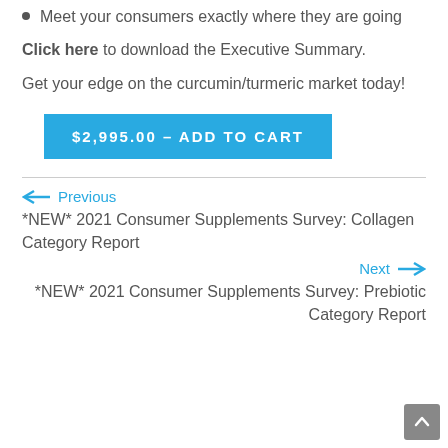Meet your consumers exactly where they are going
Click here to download the Executive Summary.
Get your edge on the curcumin/turmeric market today!
$2,995.00 – ADD TO CART
← Previous
*NEW* 2021 Consumer Supplements Survey: Collagen Category Report
Next →
*NEW* 2021 Consumer Supplements Survey: Prebiotic Category Report